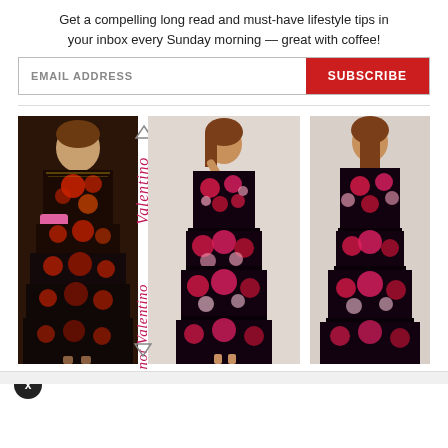Get a compelling long read and must-have lifestyle tips in your inbox every Sunday morning — great with coffee!
[Figure (screenshot): Email subscription field with 'EMAIL ADDRESS' placeholder and red 'SUBSCRIBE' button]
[Figure (photo): Three fashion photos side by side: left shows a Valentino runway look with dark floral embroidered tiered dress; center and right show a similar 'not Valentino' floral maxi dress from front and back. Italic pink 'Valentino' and 'not Valentino' labels overlaid between the images.]